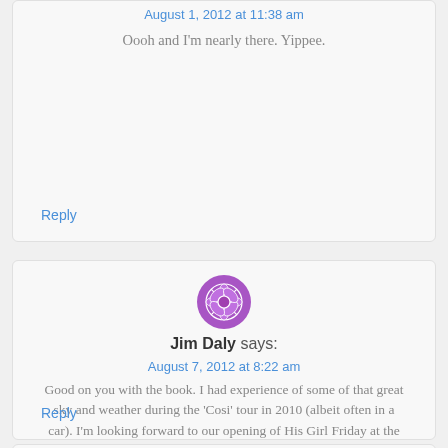August 1, 2012 at 11:38 am
Oooh and I'm nearly there. Yippee.
Reply
[Figure (illustration): Purple decorative avatar icon for Jim Daly]
Jim Daly says:
August 7, 2012 at 8:22 am
Good on you with the book. I had experience of some of that great sky and weather during the 'Cosi' tour in 2010 (albeit often in a car). I'm looking forward to our opening of His Girl Friday at the MTC next week. Walk on!
Reply